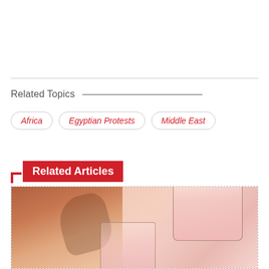Related Topics
Africa
Egyptian Protests
Middle East
Related Articles
[Figure (photo): Photo of drinks being poured into glasses, with copper mugs or pitchers visible, pinkish beverages on a pink background]